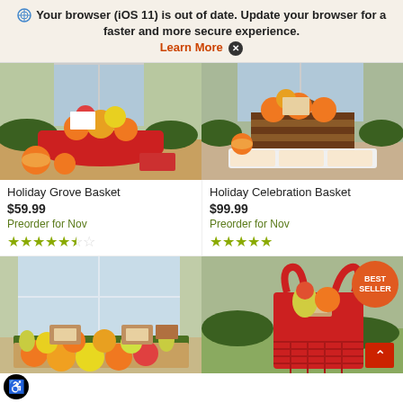Your browser (iOS 11) is out of date. Update your browser for a faster and more secure experience. Learn More X
[Figure (photo): Holiday Grove Basket - red basket with fruits, oranges, pears, apples, and snacks on a wooden table with greenery]
Holiday Grove Basket
$59.99
Preorder for Nov
[Figure (photo): Holiday Celebration Basket - brown woven basket with oranges, cookies, dried fruits and snacks on a table]
Holiday Celebration Basket
$99.99
Preorder for Nov
[Figure (photo): Fruit gift box with pears, oranges, apples, and packaged snacks on green grass background]
[Figure (photo): Red holiday tote bag with fruits, pears, and snacks with a BEST SELLER badge]